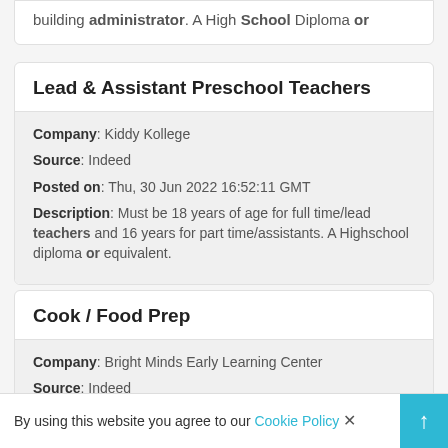building administrator. A High School Diploma or
Lead & Assistant Preschool Teachers
Company: Kiddy Kollege
Source: Indeed
Posted on: Thu, 30 Jun 2022 16:52:11 GMT
Description: Must be 18 years of age for full time/lead teachers and 16 years for part time/assistants. A Highschool diploma or equivalent.
Cook / Food Prep
Company: Bright Minds Early Learning Center
Source: Indeed
By using this website you agree to our Cookie Policy ×